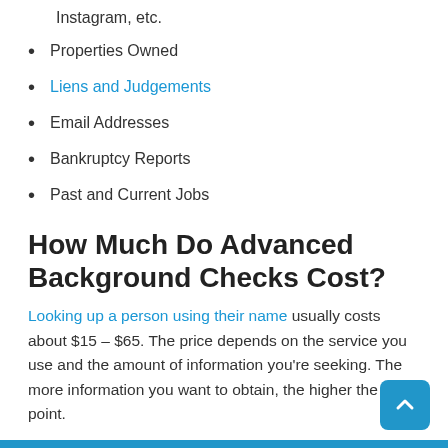Instagram, etc.
Properties Owned
Liens and Judgements
Email Addresses
Bankruptcy Reports
Past and Current Jobs
How Much Do Advanced Background Checks Cost?
Looking up a person using their name usually costs about $15 – $65. The price depends on the service you use and the amount of information you're seeking. The more information you want to obtain, the higher the price point.
How Long Does An Advanced Background